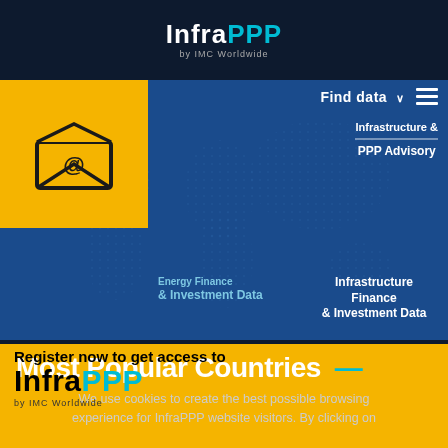[Figure (logo): InfraPPP by IMC Worldwide logo — 'Infra' in white bold, 'PPP' in cyan, subtitle 'by IMC Worldwide' in grey]
[Figure (screenshot): Blue world map banner with navigation items: email icon in yellow box top left, 'Find data' button and hamburger menu top right, 'Energy Finance & Investment Data', 'Infrastructure Finance & Investment Data', 'Infrastructure & PPP Advisory' nav items, partial text cut off at top]
Most Popular Countries —
We use cookies to create the best possible browsing experience for InfraPPP website visitors. By clicking on
[Figure (logo): InfraPPP by IMC Worldwide logo on yellow background — 'Infra' in black bold, 'PPP' in cyan, subtitle 'by IMC Worldwide' in dark grey]
Register now to get access to